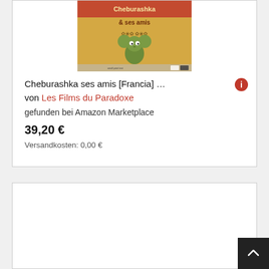[Figure (photo): Product image of Cheburashka ses amis DVD/book cover — golden/orange background with cartoon character and French text '& ses amis']
Cheburashka ses amis [Francia] … von Les Films du Paradoxe
gefunden bei Amazon Marketplace
39,20 €
Versandkosten: 0,00 €
[Figure (other): Empty white card area (second product card with no loaded image)]